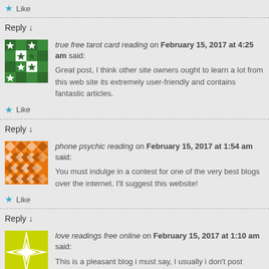Like
Reply ↓
true free tarot card reading on February 15, 2017 at 4:25 am said:
Great post, I think other site owners ought to learn a lot from this web site its extremely user-friendly and contains fantastic articles.
Like
Reply ↓
phone psychic reading on February 15, 2017 at 1:54 am said:
You must indulge in a contest for one of the very best blogs over the internet. I'll suggest this website!
Like
Reply ↓
love readings free online on February 15, 2017 at 1:10 am said:
This is a pleasant blog i must say, I usually i don't post feedback on other so...